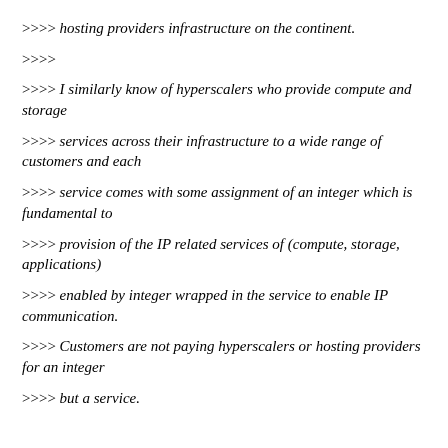>>>> hosting providers infrastructure on the continent.
>>>>
>>>> I similarly know of hyperscalers who provide compute and storage
>>>> services across their infrastructure to a wide range of customers and each
>>>> service comes with some assignment of an integer which is fundamental to
>>>> provision of the IP related services of (compute, storage, applications)
>>>> enabled by integer wrapped in the service to enable IP communication.
>>>> Customers are not paying hyperscalers or hosting providers for an integer
>>>> but a service.